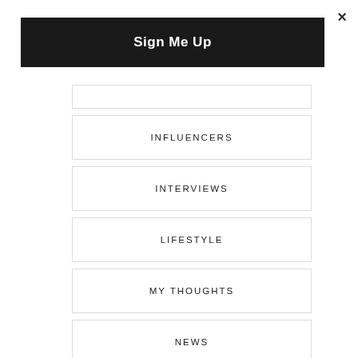×
Sign Me Up
INFLUENCERS
INTERVIEWS
LIFESTYLE
MY THOUGHTS
NEWS
OOTD
QUEEN FEET